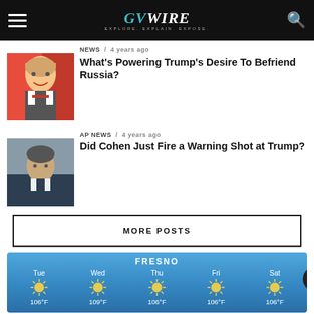GVWire — Explore. Explain. Expose.
NEWS / 4 years ago
What's Powering Trump's Desire To Befriend Russia?
AP NEWS / 4 years ago
Did Cohen Just Fire a Warning Shot at Trump?
MORE POSTS
[Figure (infographic): Fresno 5-day weather forecast showing sunny conditions: Tue 106°F, Wed 109°F, Thu 106°F, Fri 106°F, Sat 106°F]